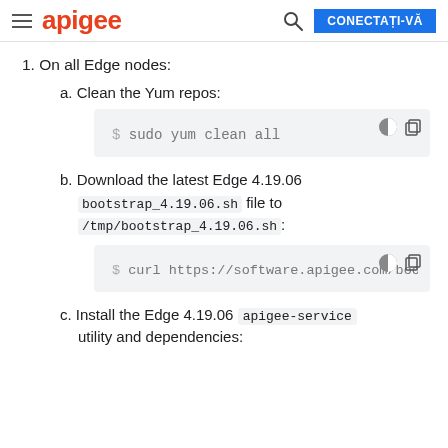apigee | CONECTAȚI-VĂ
1. On all Edge nodes:
a. Clean the Yum repos:
$ sudo yum clean all
b. Download the latest Edge 4.19.06 bootstrap_4.19.06.sh file to /tmp/bootstrap_4.19.06.sh:
$ curl https://software.apigee.com/boot
c. Install the Edge 4.19.06 apigee-service utility and dependencies: